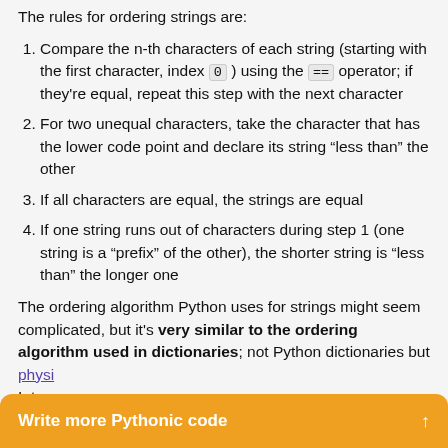The rules for ordering strings are:
Compare the n-th characters of each string (starting with the first character, index 0 ) using the == operator; if they're equal, repeat this step with the next character
For two unequal characters, take the character that has the lower code point and declare its string “less than” the other
If all characters are equal, the strings are equal
If one string runs out of characters during step 1 (one string is a “prefix” of the other), the shorter string is “less than” the longer one
The ordering algorithm Python uses for strings might seem complicated, but it's very similar to the ordering algorithm used in dictionaries; not Python dictionaries but physi...Intern...
Write more Pythonic code